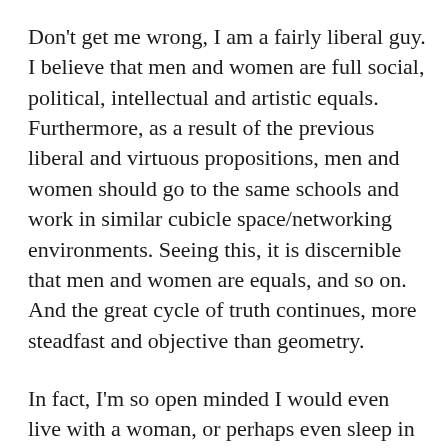Don't get me wrong, I am a fairly liberal guy. I believe that men and women are full social, political, intellectual and artistic equals. Furthermore, as a result of the previous liberal and virtuous propositions, men and women should go to the same schools and work in similar cubicle space/networking environments. Seeing this, it is discernible that men and women are equals, and so on. And the great cycle of truth continues, more steadfast and objective than geometry.
In fact, I'm so open minded I would even live with a woman, or perhaps even sleep in the same bed with one, or even, someday, marry one. I am not ashamed to say that I would be proud to marry a woman, with whom the gender of my child is irrelevant.